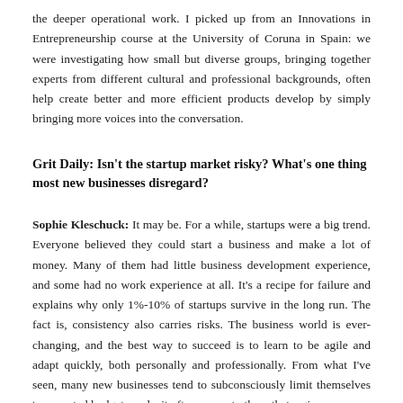the deeper operational work. I picked up from an Innovations in Entrepreneurship course at the University of Coruna in Spain: we were investigating how small but diverse groups, bringing together experts from different cultural and professional backgrounds, often help create better and more efficient products develop by simply bringing more voices into the conversation.
Grit Daily: Isn't the startup market risky? What's one thing most new businesses disregard?
Sophie Kleschuck: It may be. For a while, startups were a big trend. Everyone believed they could start a business and make a lot of money. Many of them had little business development experience, and some had no work experience at all. It's a recipe for failure and explains why only 1%-10% of startups survive in the long run. The fact is, consistency also carries risks. The business world is ever-changing, and the best way to succeed is to learn to be agile and adapt quickly, both personally and professionally. From what I've seen, many new businesses tend to subconsciously limit themselves to expected budget needs; it often seems to them that a given